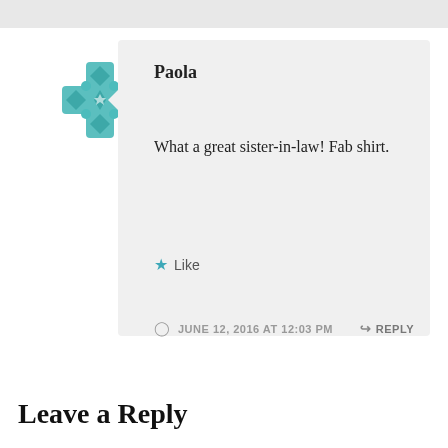[Figure (illustration): Teal geometric cross/flower avatar for user Paola]
Paola
What a great sister-in-law! Fab shirt.
★ Like
JUNE 12, 2016 AT 12:03 PM
↪ REPLY
Leave a Reply